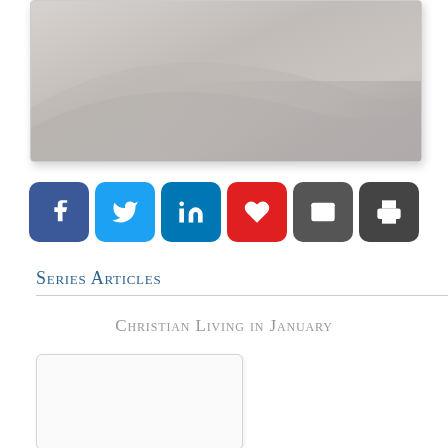[Figure (photo): Abstract soft-focus photo with gray and beige tones, curved shapes, shown partially at top of page]
[Figure (infographic): Row of six social sharing buttons: Facebook (dark blue, f), Twitter (light blue, bird), LinkedIn (blue, in), Heart/Favorite (red, heart), Email (dark gray, envelope), Print (dark gray, printer)]
Series Articles
Christian Living in January
[Figure (photo): Partial article card/thumbnail image, white/light gray box with border, no visible content]